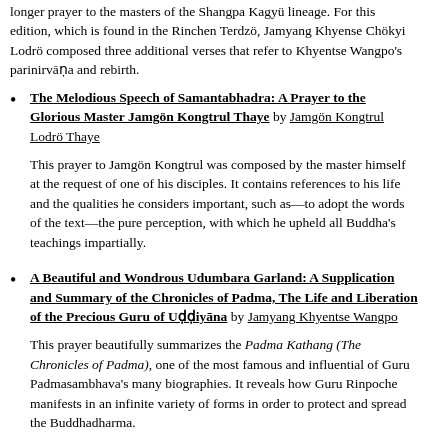gsol 'debs) to Jamyang Khyentse Wangpo by extracting verses from a longer prayer to the masters of the Shangpa Kagyü lineage. For this edition, which is found in the Rinchen Terdzö, Jamyang Khyense Chökyi Lodrö composed three additional verses that refer to Khyentse Wangpo's parinirvāṇa and rebirth.
The Melodious Speech of Samantabhadra: A Prayer to the Glorious Master Jamgön Kongtrul Thaye by Jamgön Kongtrul Lodrö Thaye
This prayer to Jamgön Kongtrul was composed by the master himself at the request of one of his disciples. It contains references to his life and the qualities he considers important, such as—to adopt the words of the text—the pure perception, with which he upheld all Buddha's teachings impartially.
A Beautiful and Wondrous Udumbara Garland: A Supplication and Summary of the Chronicles of Padma, The Life and Liberation of the Precious Guru of Uḍḍiyāna by Jamyang Khyentse Wangpo
This prayer beautifully summarizes the Padma Kathang (The Chronicles of Padma), one of the most famous and influential of Guru Padmasambhava's many biographies. It reveals how Guru Rinpoche manifests in an infinite variety of forms in order to protect and spread the Buddhadharma.
A Prayer Recalling the Life and Liberation of the Precious